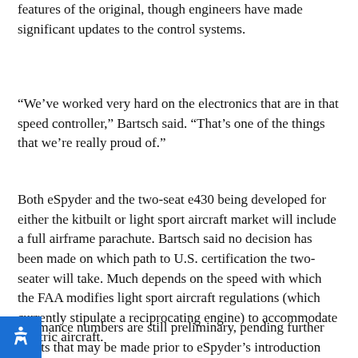features of the original, though engineers have made significant updates to the control systems.
“We’ve worked very hard on the electronics that are in that speed controller,” Bartsch said. “That’s one of the things that we’re really proud of.”
Both eSpyder and the two-seat e430 being developed for either the kitbuilt or light sport aircraft market will include a full airframe parachute. Bartsch said no decision has been made on which path to U.S. certification the two-seater will take. Much depends on the speed with which the FAA modifies light sport aircraft regulations (which currently stipulate a reciprocating engine) to accommodate electric aircraft.
rformance numbers are still preliminary, pending further ments that may be made prior to eSpyder’s introduction